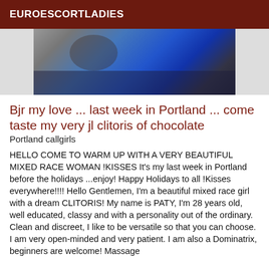EUROESCORTLADIES
[Figure (photo): Partial photo of a woman in a blue top, cropped at torso level]
Bjr my love ... last week in Portland ... come taste my very jl clitoris of chocolate
Portland callgirls
HELLO COME TO WARM UP WITH A VERY BEAUTIFUL MIXED RACE WOMAN !KISSES It's my last week in Portland before the holidays ...enjoy! Happy Holidays to all !Kisses everywhere!!!! Hello Gentlemen, I'm a beautiful mixed race girl with a dream CLITORIS! My name is PATY, I'm 28 years old, well educated, classy and with a personality out of the ordinary. Clean and discreet, I like to be versatile so that you can choose. I am very open-minded and very patient. I am also a Dominatrix, beginners are welcome! Massage